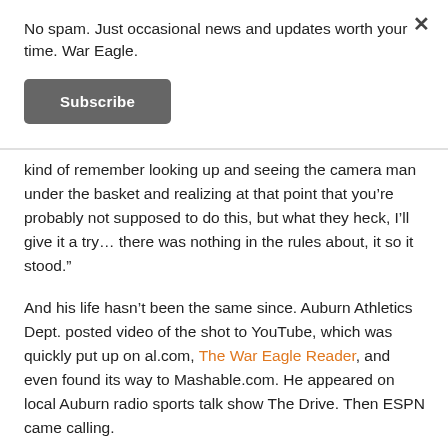No spam. Just occasional news and updates worth your time. War Eagle.
Subscribe
kind of remember looking up and seeing the camera man under the basket and realizing at that point that you’re probably not supposed to do this, but what they heck, I’ll give it a try… there was nothing in the rules about, it so it stood.”
And his life hasn’t been the same since. Auburn Athletics Dept. posted video of the shot to YouTube, which was quickly put up on al.com, The War Eagle Reader, and even found its way to Mashable.com. He appeared on local Auburn radio sports talk show The Drive. Then ESPN came calling.